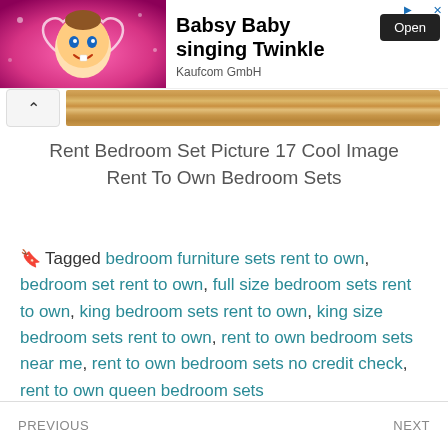[Figure (screenshot): Advertisement banner for Babsy Baby singing Twinkle app by Kaufcom GmbH, with cartoon baby image on pink background, Open button]
Rent Bedroom Set Picture 17 Cool Image Rent To Own Bedroom Sets
Tagged bedroom furniture sets rent to own, bedroom set rent to own, full size bedroom sets rent to own, king bedroom sets rent to own, king size bedroom sets rent to own, rent to own bedroom sets near me, rent to own bedroom sets no credit check, rent to own queen bedroom sets
PREVIOUS  NEXT